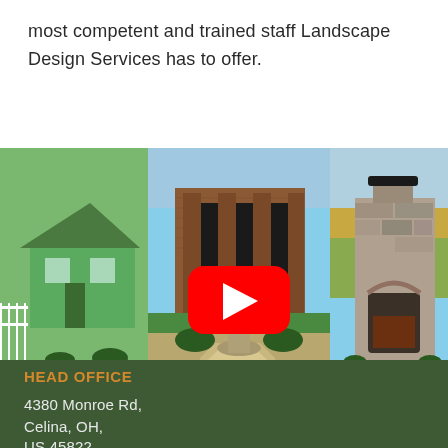most competent and trained staff Landscape Design Services has to offer.
[Figure (photo): Composite photo showing three landscape design examples: left panel shows a green house with white picket fence and garden, center panel shows a brick building entrance with a large decorative fountain on a stone patio surrounded by hedges with a YouTube play button overlay, right panel shows a stone outdoor fireplace.]
HEAD OFFICE
4380 Monroe Rd,
Celina, OH,
US 45822